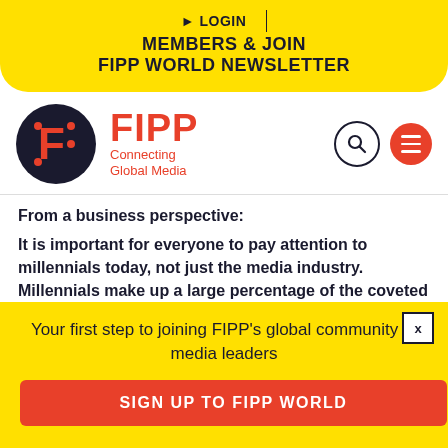▶ LOGIN | MEMBERS & JOIN FIPP WORLD NEWSLETTER
[Figure (logo): FIPP logo: dark navy circle with orange F letter mark, beside FIPP wordmark in red with 'Connecting Global Media' subtitle. Search icon and menu icon on right.]
From a business perspective:
It is important for everyone to pay attention to millennials today, not just the media industry. Millennials make up a large percentage of the coveted audience many of us are targeting today. Since the
Your first step to joining FIPP's global community of media leaders
SIGN UP TO FIPP WORLD